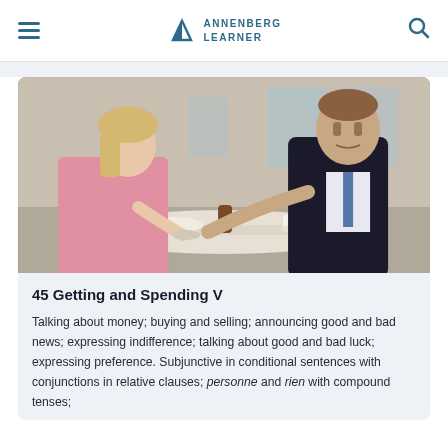Annenberg Learner
[Figure (photo): Two people sitting at an outdoor cafe table — a young blonde woman in a pink top and an older man in a dark suit — appearing to be in conversation over coffee and food.]
45 Getting and Spending V
Talking about money; buying and selling; announcing good and bad news; expressing indifference; talking about good and bad luck; expressing preference. Subjunctive in conditional sentences with conjunctions in relative clauses; personne and rien with compound tenses;